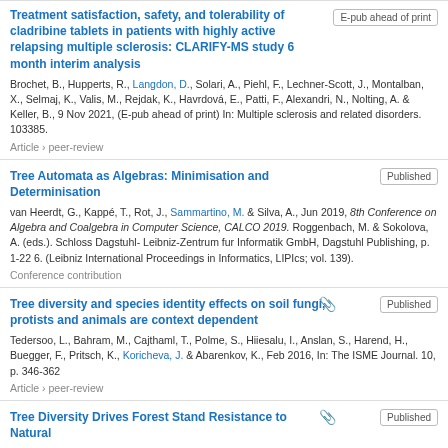Treatment satisfaction, safety, and tolerability of cladribine tablets in patients with highly active relapsing multiple sclerosis: CLARIFY-MS study 6 month interim analysis
Brochet, B., Hupperts, R., Langdon, D., Solari, A., Piehl, F., Lechner-Scott, J., Montalban, X., Selmaj, K., Valis, M., Rejdak, K., Havrdová, E., Patti, F., Alexandri, N., Nolting, A. & Keller, B., 9 Nov 2021, (E-pub ahead of print) In: Multiple sclerosis and related disorders. 103385.
Article › peer-review
Tree Automata as Algebras: Minimisation and Determinisation
van Heerdt, G., Kappé, T., Rot, J., Sammartino, M. & Silva, A., Jun 2019, 8th Conference on Algebra and Coalgebra in Computer Science, CALCO 2019. Roggenbach, M. & Sokolova, A. (eds.). Schloss Dagstuhl- Leibniz-Zentrum fur Informatik GmbH, Dagstuhl Publishing, p. 1-22 6. (Leibniz International Proceedings in Informatics, LIPIcs; vol. 139).
Conference contribution
Tree diversity and species identity effects on soil fungi, protists and animals are context dependent
Tedersoo, L., Bahram, M., Cajthaml, T., Polme, S., Hiiesalu, I., Anslan, S., Harend, H., Buegger, F., Pritsch, K., Koricheva, J. & Abarenkov, K., Feb 2016, In: The ISME Journal. 10, p. 346-362
Article › peer-review
Tree Diversity Drives Forest Stand Resistance to Natural